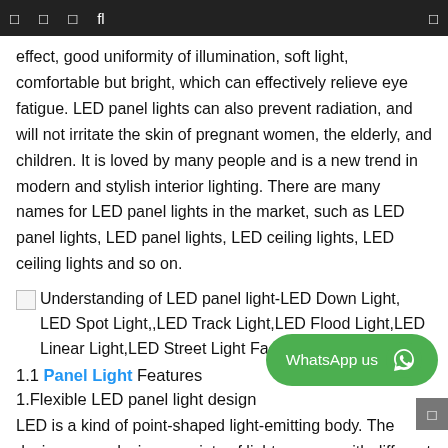□ □ □ fl □
effect, good uniformity of illumination, soft light, comfortable but bright, which can effectively relieve eye fatigue. LED panel lights can also prevent radiation, and will not irritate the skin of pregnant women, the elderly, and children. It is loved by many people and is a new trend in modern and stylish interior lighting. There are many names for LED panel lights in the market, such as LED panel lights, LED panel lights, LED ceiling lights, LED ceiling lights and so on.
[Figure (other): Broken image placeholder for Understanding of LED panel light-LED Down Light, LED Spot Light,,LED Track Light,LED Flood Light,LED Linear Light,LED Street Light Factory Manufacturer]
Understanding of LED panel light-LED Down Light, LED Spot Light,,LED Track Light,LED Flood Light,LED Linear Light,LED Street Light Factory Manufacturer
1.1 Panel Light Features
1.Flexible LED panel light design
LED is a kind of point-shaped light-emitting body. The designer can design a variety of light sources with different shapes and